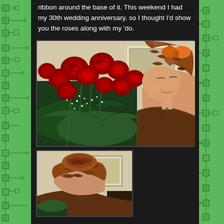ribbon around the base of it. This weekend I had my 30th wedding anniversary, so I thought I'd show you the roses along with my 'do.
[Figure (photo): A woman with curly auburn hair styled up with an orange ribbon bow, smiling and looking down at a bouquet of red roses with baby's breath and green foliage.]
[Figure (photo): A close-up back view of the woman's curly updo hairstyle with red roses visible at the bottom edge, taken in a room with a framed picture on the wall.]